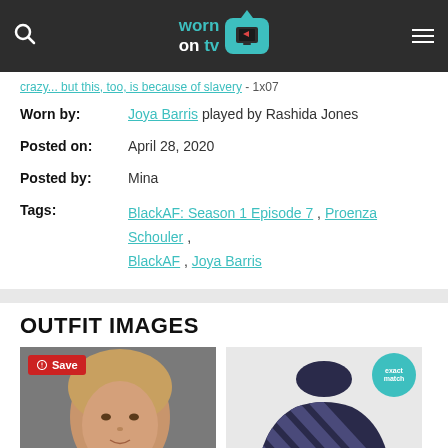Worn On TV
crazy... but this, too, is because of slavery - 1x07
Worn by: Joya Barris played by Rashida Jones
Posted on: April 28, 2020
Posted by: Mina
Tags: BlackAF: Season 1 Episode 7 , Proenza Schouler , BlackAF , Joya Barris
OUTFIT IMAGES
[Figure (photo): Photo of Joya Barris character played by Rashida Jones with a Save button overlay]
[Figure (photo): Product photo of dark navy and black striped turtleneck top with exact match badge]